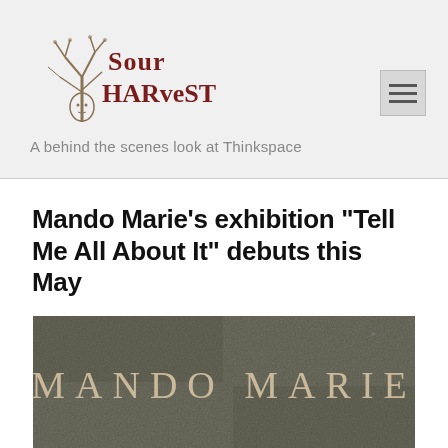[Figure (logo): Sour Harvest logo with illustrated bare tree and face, hand-drawn style text reading 'Sour Harvest']
[Figure (other): Hamburger menu button (three horizontal lines) in a grey square]
A behind the scenes look at Thinkspace
Mando Marie’s exhibition “Tell Me All About It” debuts this May
[Figure (photo): Dark olive/grey textured background with large text reading 'MANDO MARIE' in spaced serif letters in tan/cream color]